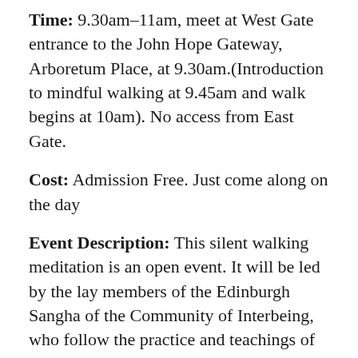Time: 9.30am–11am, meet at West Gate entrance to the John Hope Gateway, Arboretum Place, at 9.30am.(Introduction to mindful walking at 9.45am and walk begins at 10am). No access from East Gate.
Cost: Admission Free. Just come along on the day
Event Description: This silent walking meditation is an open event. It will be led by the lay members of the Edinburgh Sangha of the Community of Interbeing, who follow the practice and teachings of Zen Buddhist Master, Thich Nhat Hanh. The walk begins at the John Hope Gateway of the Royal Botanic Garden Edinburgh. Before the walk begins there will be a brief introduction to mindful walking as